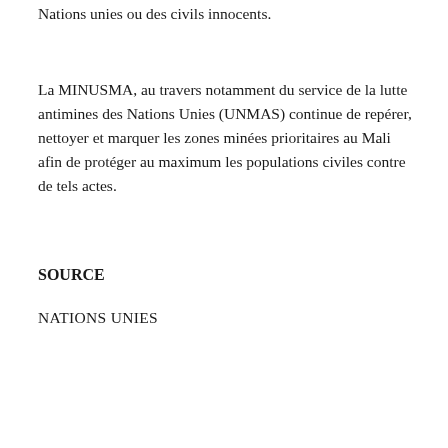Nations unies ou des civils innocents.
La MINUSMA, au travers notamment du service de la lutte antimines des Nations Unies (UNMAS) continue de repérer, nettoyer et marquer les zones minées prioritaires au Mali afin de protéger au maximum les populations civiles contre de tels actes.
SOURCE
NATIONS UNIES